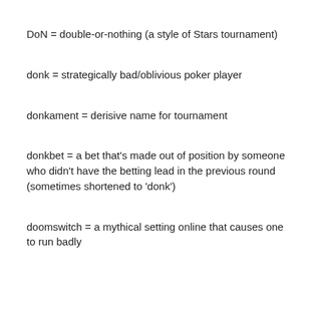DoN = double-or-nothing (a style of Stars tournament)
donk = strategically bad/oblivious poker player
donkament = derisive name for tournament
donkbet = a bet that's made out of position by someone who didn't have the betting lead in the previous round (sometimes shortened to 'donk')
doomswitch = a mythical setting online that causes one to run badly